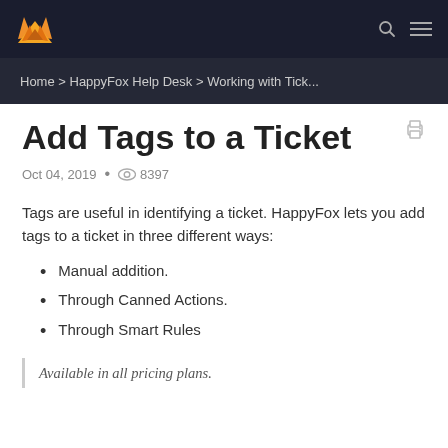Home > HappyFox Help Desk > Working with Tick...
Add Tags to a Ticket
Oct 04, 2019 • 8397
Tags are useful in identifying a ticket. HappyFox lets you add tags to a ticket in three different ways:
Manual addition.
Through Canned Actions.
Through Smart Rules
Available in all pricing plans.